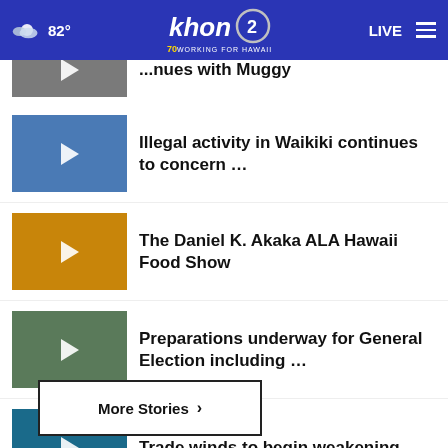khon2 — WORKING FOR HAWAII | 82° | LIVE
... continues with Muggy
Illegal activity in Waikiki continues to concern ...
The Daniel K. Akaka ALA Hawaii Food Show
Preparations underway for General Election including ...
Trade winds to begin weakening
More Stories ›